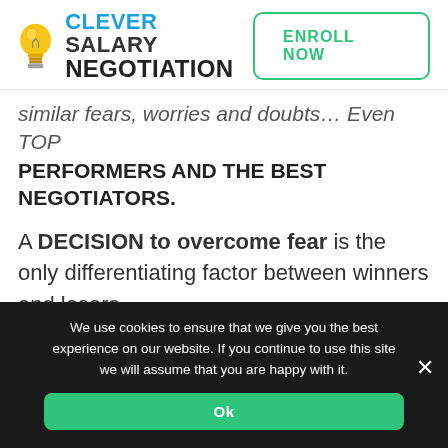[Figure (logo): Clever Salary Negotiation logo with lightbulb icon and text, plus ENROLL NOW button]
similar fears, worries and doubts… Even TOP PERFORMERS AND THE BEST NEGOTIATORS.
A DECISION to overcome fear is the only differentiating factor between winners and losers.
Those people who 'make it happen'… Those
We use cookies to ensure that we give you the best experience on our website. If you continue to use this site we will assume that you are happy with it.